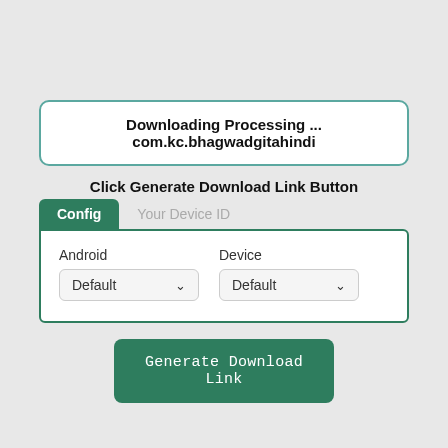Downloading Processing ... com.kc.bhagwadgitahindi
Click Generate Download Link Button
[Figure (screenshot): A UI panel with two tabs: 'Config' (active, green) and 'Your Device ID' (inactive, grey). Inside the Config tab content area, there are two dropdown menus labeled 'Android' and 'Device', both set to 'Default'.]
Generate Download Link